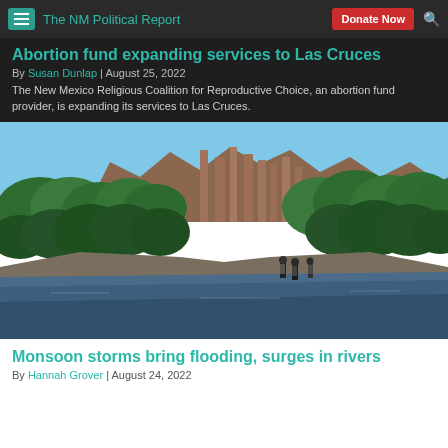The NM Political Report
Abortion fund expanding services to Las Cruces
By Susan Dunlap | August 25, 2022
The New Mexico Religious Coalition for Reproductive Choice, an abortion fund provider, is expanding its services to Las Cruces.
[Figure (photo): River scene with hikers in foreground, lush green trees on both banks, red rock cliffs/spires in the background under a clear blue sky]
Monsoon storms bring flooding, surges in rivers
By Hannah Grover | August 24, 2022